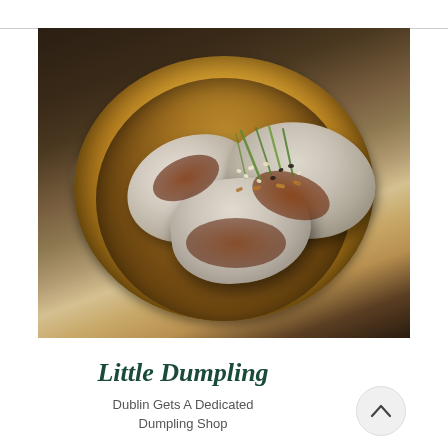[Figure (photo): Photo of dumplings in a yellow bamboo steamer basket, topped with brown sauce, sesame seeds, and spring onions]
Little Dumpling
Dublin Gets A Dedicated Dumpling Shop